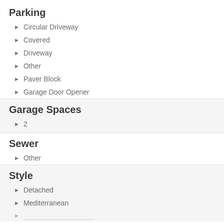Parking
Circular Driveway
Covered
Driveway
Other
Paver Block
Garage Door Opener
Garage Spaces
2
Sewer
Other
Style
Detached
Mediterranean
Spanish Mediterranean